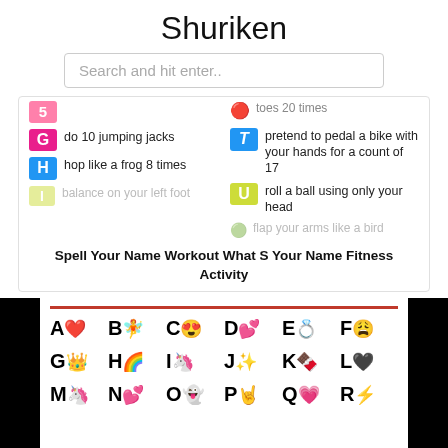Shuriken
Search and hit enter..
[Figure (screenshot): Spell Your Name Workout activity card showing letter icons (G: do 10 jumping jacks, H: hop like a frog 8 times, T: pretend to pedal a bike with your hands for a count of 17, U: roll a ball using only your head) with partially visible rows at top and bottom]
Spell Your Name Workout What S Your Name Fitness Activity
[Figure (photo): Alphabet emoji chart showing A through R with corresponding emojis: A❤️ B🧚 C😍 D💕 E💍 F😩 G👑 H🌈 I🦄 J✨ K🍫 L🖤 M🦄 N💕 O👻 P🤘 Q💗 R⚡]